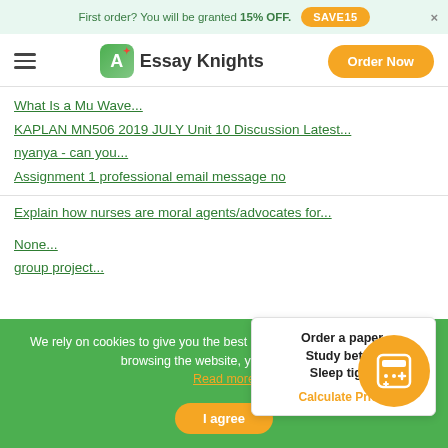First order? You will be granted 15% OFF. SAVE15
[Figure (logo): Essay Knights logo with green A+ icon and orange Order Now button]
What Is a Mu Wave...
KAPLAN MN506 2019 JULY Unit 10 Discussion Latest...
nyanya - can you...
Assignment 1 professional email message no
Explain how nurses are moral agents/advocates for...
None...
group project...
Order a paper. Study better. Sleep tight. Calculate Price!
We rely on cookies to give you the best experience on our website. By browsing the website, you agree to it. Read more I agree